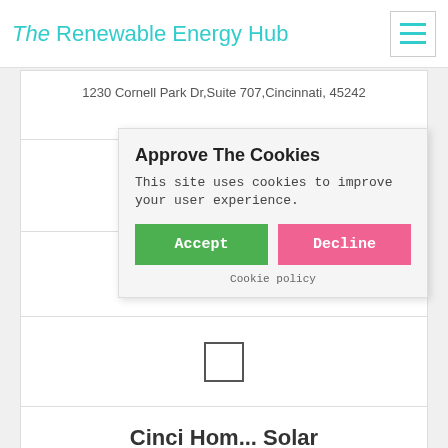The Renewable Energy Hub
1230 Cornell Park Dr,Suite 707,Cincinnati, 45242
1440
[Figure (other): Five empty star rating icons in light gray]
[Figure (other): Empty checkbox square]
Get a Quote
Cinci Home Solar
3440 River Hills Dr,Newtown, 45244
Approve The Cookies
This site uses cookies to improve your user experience.
Accept  Decline
Cookie policy